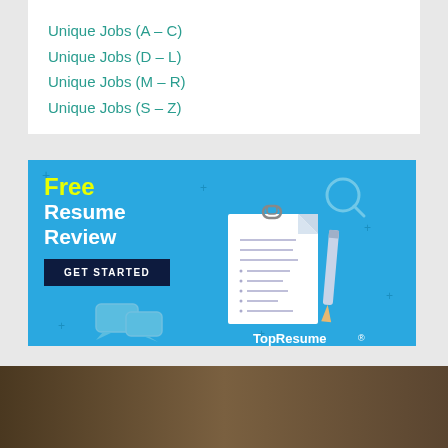Unique Jobs (A – C)
Unique Jobs (D – L)
Unique Jobs (M – R)
Unique Jobs (S – Z)
[Figure (illustration): TopResume advertisement banner with blue background showing 'Free Resume Review' text in yellow and white, a document with pencil illustration, chat bubbles, magnifying glass, and a 'GET STARTED' button]